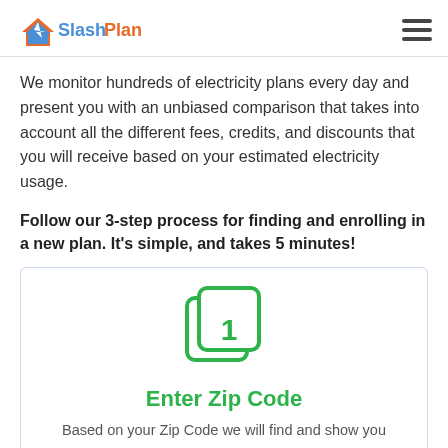SlashPlan
We monitor hundreds of electricity plans every day and present you with an unbiased comparison that takes into account all the different fees, credits, and discounts that you will receive based on your estimated electricity usage.
Follow our 3-step process for finding and enrolling in a new plan. It's simple, and takes 5 minutes!
[Figure (infographic): Step 1 icon: a green rounded square with the number 1 inside, styled as a stacked card icon]
Enter Zip Code
Based on your Zip Code we will find and show you